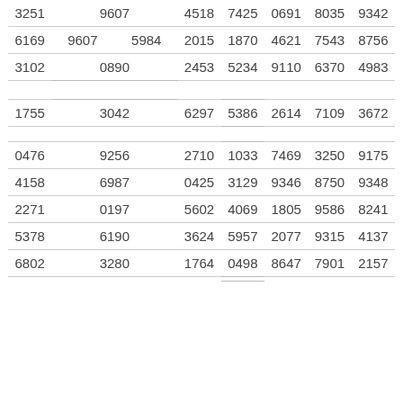| 3251 | 9607 | 4518 | 7425 | 0691 | 8035 | 9342 |
| 6169 | 5984 | 2015 | 1870 | 4621 | 7543 | 8756 |
| 3102 | 0890 | 2453 | 5234 | 9110 | 6370 | 4983 |
| 1755 | 3042 | 6297 | 5386 | 2614 | 7109 | 3672 |
| 0476 | 9256 | 2710 | 1033 | 7469 | 3250 | 9175 |
| 4158 | 6987 | 0425 | 3129 | 9346 | 8750 | 9348 |
| 2271 | 0197 | 5602 | 4069 | 1805 | 9586 | 8241 |
| 5378 | 6190 | 3624 | 5957 | 2077 | 9315 | 4137 |
| 6802 | 3280 | 1764 | 0498 | 8647 | 7901 | 2157 |